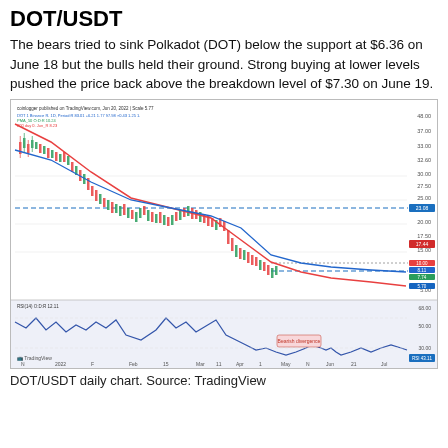DOT/USDT
The bears tried to sink Polkadot (DOT) below the support at $6.36 on June 18 but the bulls held their ground. Strong buying at lower levels pushed the price back above the breakdown level of $7.30 on June 19.
[Figure (continuous-plot): DOT/USDT daily candlestick chart from TradingView showing price decline from ~$48 to ~$8, with red 50-day MA, blue 200-day MA, dashed blue horizontal support/resistance lines at ~$23 and ~$7.30, and RSI indicator panel below showing bearish divergence annotation. Chart dated Jun 20, 2022.]
DOT/USDT daily chart. Source: TradingView